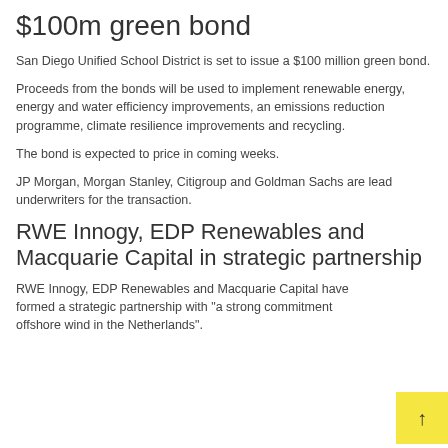$100m green bond
San Diego Unified School District is set to issue a $100 million green bond.
Proceeds from the bonds will be used to implement renewable energy, energy and water efficiency improvements, an emissions reduction programme, climate resilience improvements and recycling.
The bond is expected to price in coming weeks.
JP Morgan, Morgan Stanley, Citigroup and Goldman Sachs are lead underwriters for the transaction.
RWE Innogy, EDP Renewables and Macquarie Capital in strategic partnership
RWE Innogy, EDP Renewables and Macquarie Capital have formed a strategic partnership with "a strong commitment offshore wind in the Netherlands".